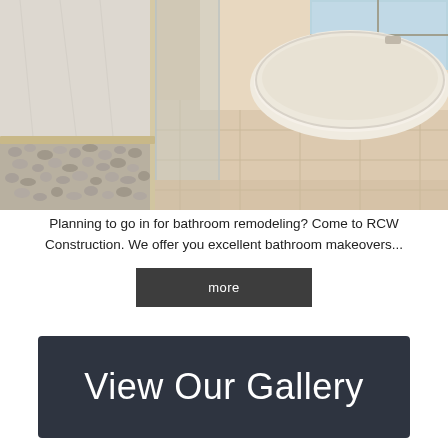[Figure (photo): Bathroom remodeling photo showing a glass shower enclosure with pebble tile floor on the left and a large freestanding white oval bathtub on tiled wood-look flooring on the right, with a window in the background.]
Planning to go in for bathroom remodeling? Come to RCW Construction. We offer you excellent bathroom makeovers...
more
View Our Gallery